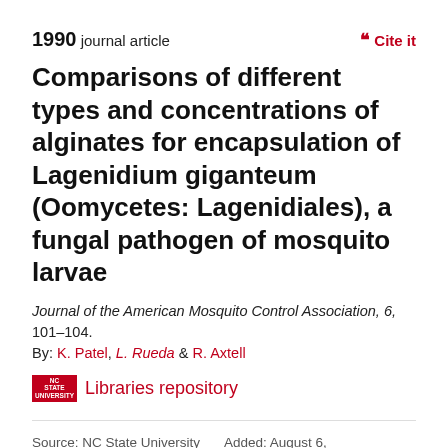1990 journal article
Comparisons of different types and concentrations of alginates for encapsulation of Lagenidium giganteum (Oomycetes: Lagenidiales), a fungal pathogen of mosquito larvae
Journal of the American Mosquito Control Association, 6, 101–104.
By: K. Patel, L. Rueda & R. Axtell
NC STATE UNIVERSITY Libraries repository
Source: NC State University Libraries
Added: August 6, 2018